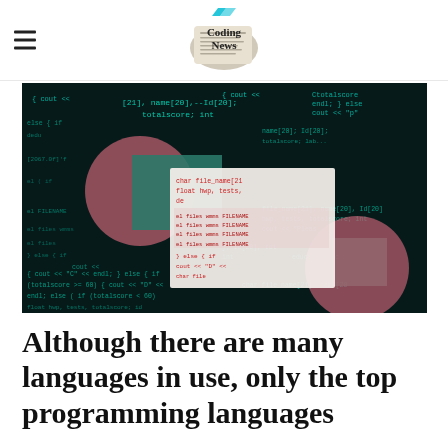Coding News
[Figure (screenshot): Dark background with green code text visible on a screen. Decorative pink/mauve circles and teal rectangles overlaid on a laptop screen showing programming code.]
Although there are many languages in use, only the top programming languages